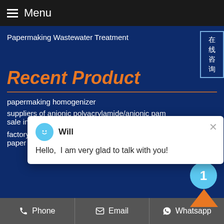Menu
Papermaking Wastewater Treatment
Recent Product
papermaking homogenizer
suppliers of anionic polyacrylamide/anionic pam sale in california
factory price pac industry polyaluminium chloride paper making
Will
Hello,  I am very glad to talk with you!
Phone   Email   Whatsapp